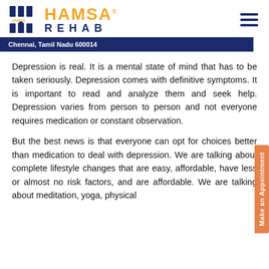[Figure (logo): Hamsa Rehab logo with geometric icon in navy blue, orange HAMSA text and navy REHAB text, with hamburger menu icon]
Chennai, Tamil Nadu 600014
Depression is real. It is a mental state of mind that has to be taken seriously. Depression comes with definitive symptoms. It is important to read and analyze them and seek help. Depression varies from person to person and not everyone requires medication or constant observation.
But the best news is that everyone can opt for choices better than medication to deal with depression. We are talking about complete lifestyle changes that are easy, affordable, have less or almost no risk factors, and are affordable. We are talking about meditation, yoga, physical